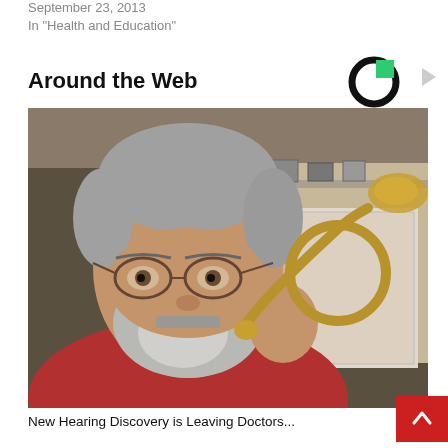September 23, 2013
In "Health and Education"
Around the Web
[Figure (photo): A middle-aged bearded man with glasses wearing a red shirt, holding up a brass ear trumpet (hearing horn) to his ear, photographed indoors.]
New Hearing Discovery is Leaving Doctors...